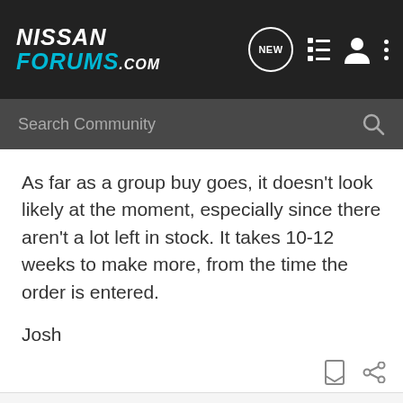[Figure (logo): NissanForums.com logo with navigation icons (NEW chat bubble, list icon, user icon, dots menu)]
Search Community
As far as a group buy goes, it doesn't look likely at the moment, especially since there aren't a lot left in stock. It takes 10-12 weeks to make more, from the time the order is entered.

Josh
281 - 300 of 342 Posts
15 of 18
This is an older thread, you may not receive a response, and could be reviving an old thread. Please consider creating a new thread.